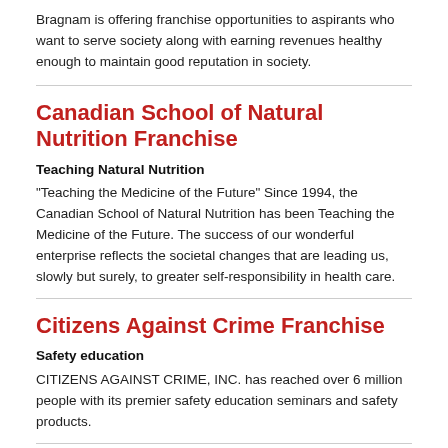Bragnam is offering franchise opportunities to aspirants who want to serve society along with earning revenues healthy enough to maintain good reputation in society.
Canadian School of Natural Nutrition Franchise
Teaching Natural Nutrition
"Teaching the Medicine of the Future" Since 1994, the Canadian School of Natural Nutrition has been Teaching the Medicine of the Future. The success of our wonderful enterprise reflects the societal changes that are leading us, slowly but surely, to greater self-responsibility in health care.
Citizens Against Crime Franchise
Safety education
CITIZENS AGAINST CRIME, INC. has reached over 6 million people with its premier safety education seminars and safety products.